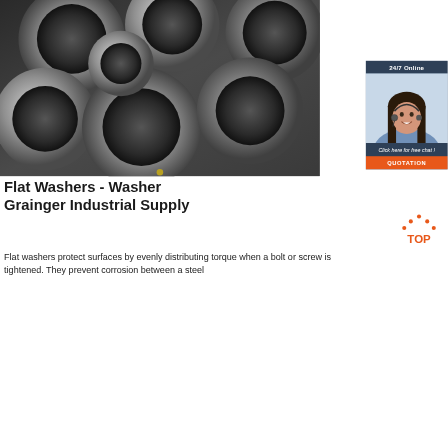[Figure (photo): Close-up photograph of multiple steel cylindrical pipes/tubes stacked together, showing circular cross-sections in silver/grey metallic tones]
[Figure (photo): Sidebar panel with dark blue-grey background showing '24/7 Online' text, a photo of a smiling female customer service representative wearing a headset, a 'Click here for free chat!' italic text, and an orange 'QUOTATION' button]
Flat Washers - Washer Grainger Industrial Supply
[Figure (logo): TOP logo with orange dots arranged in a triangle/arc above the word TOP in orange text]
Flat washers protect surfaces by evenly distributing torque when a bolt or screw is tightened. They prevent corrosion between a steel